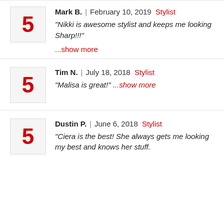Mark B. | February 10, 2019 Stylist - "Nikki is awesome stylist and keeps me looking Sharp!!!" ...show more
Tim N. | July 18, 2018 Stylist - "Malisa is great!" ...show more
Dustin P. | June 6, 2018 Stylist - "Ciera is the best! She always gets me looking my best and knows her stuff.